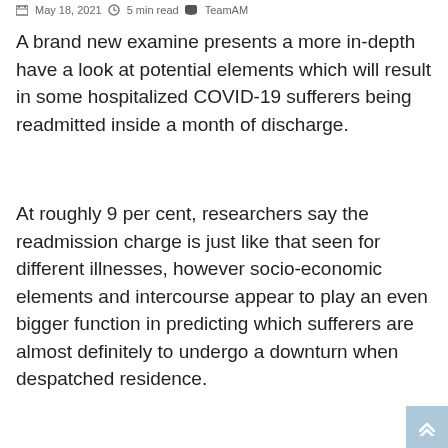May 18, 2021  5 min read  TeamAM
A brand new examine presents a more in-depth have a look at potential elements which will result in some hospitalized COVID-19 sufferers being readmitted inside a month of discharge.
At roughly 9 per cent, researchers say the readmission charge is just like that seen for different illnesses, however socio-economic elements and intercourse appear to play an even bigger function in predicting which sufferers are almost definitely to undergo a downturn when despatched residence.